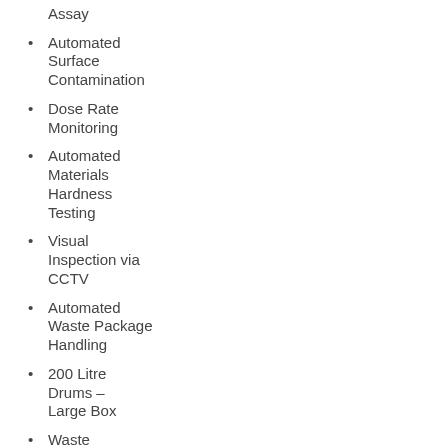Neutron Assay
Automated Surface Contamination
Dose Rate Monitoring
Automated Materials Hardness Testing
Visual Inspection via CCTV
Automated Waste Package Handling
200 Litre Drums – Large Box
Waste Package Tracking & Data Management